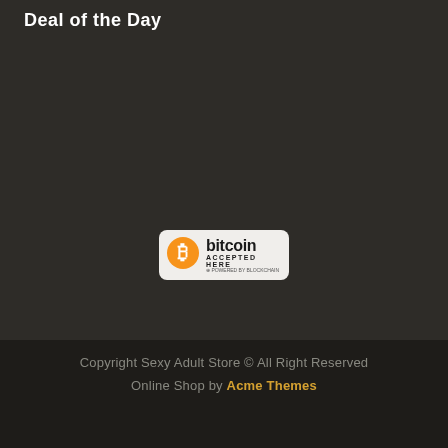Deal of the Day
[Figure (logo): Bitcoin accepted here badge with orange Bitcoin logo circle and text 'bitcoin ACCEPTED HERE powered by blockchain']
Copyright Sexy Adult Store © All Right Reserved Online Shop by Acme Themes